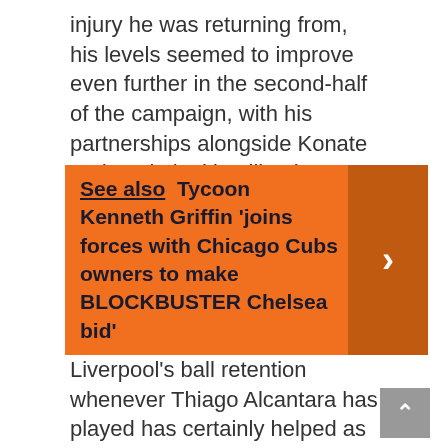injury he was returning from, his levels seemed to improve even further in the second-half of the campaign, with his partnerships alongside Konate and Matip looking like the most dominant in the league.
See also  Tycoon Kenneth Griffin 'joins forces with Chicago Cubs owners to make BLOCKBUSTER Chelsea bid'
Liverpool's ball retention whenever Thiago Alcantara has played has certainly helped as well, with the midfield looking much stronger with him in it alongside the likes of Fabinho, Jordan Henderson or Naby Keita.